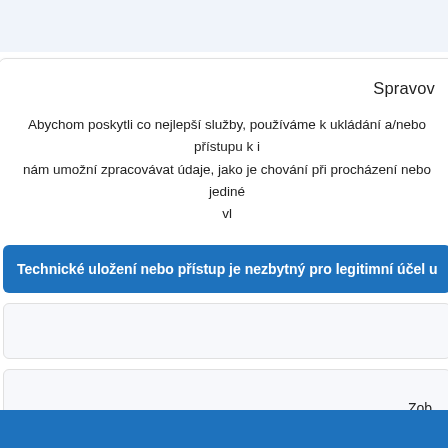Spravov
Abychom poskytli co nejlepší služby, používáme k ukládání a/nebo přístupu k i nám umožní zpracovávat údaje, jako je chování při procházení nebo jediné vl
Technické uložení nebo přístup je nezbytný pro legitimní účel u
Zob